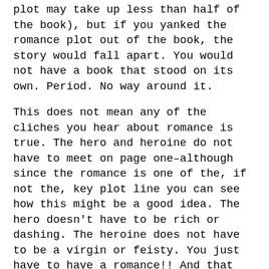plot may take up less than half of the book), but if you yanked the romance plot out of the book, the story would fall apart. You would not have a book that stood on its own. Period. No way around it.
This does not mean any of the cliches you hear about romance is true. The hero and heroine do not have to meet on page one–although since the romance is one of the, if not the, key plot line you can see how this might be a good idea. The hero doesn't have to be rich or dashing. The heroine does not have to be a virgin or feisty. You just have to have a romance!! And that romance has to be important to the book! Very important!
Oh, and if the book is a GENRE romance then it should have a HEA (happily...